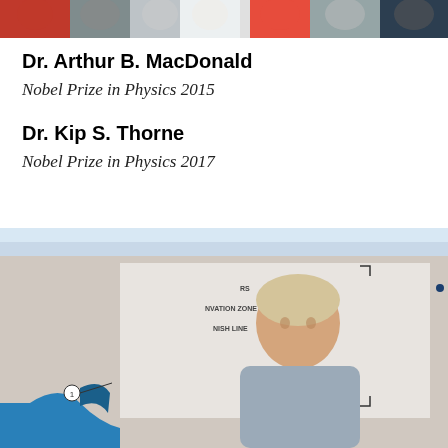[Figure (photo): Top banner photo strip showing multiple people in a row, partially cropped]
Dr. Arthur B. MacDonald
Nobel Prize in Physics 2015
Dr. Kip S. Thorne
Nobel Prize in Physics 2017
[Figure (photo): Photo of two people (a man and a woman) smiling together in front of a display board with text including 'RS', 'NVATION ZONE', 'NISH LINE', 'OBS DETECTION POINT', 'NUMBERS', 'OUND TRACK'. A blue object with a circled number 1 annotation is visible in the lower left.]